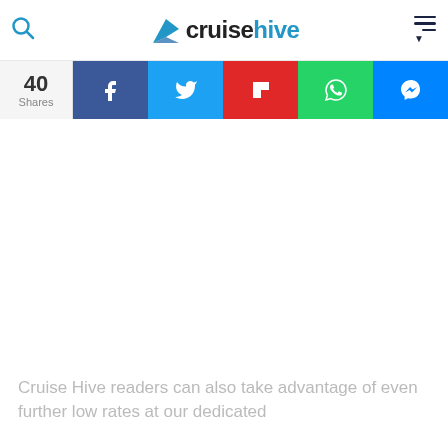cruisehive
[Figure (screenshot): Social share bar with 40 Shares, and buttons for Facebook, Twitter, Flipboard, WhatsApp, and Messenger]
Cruise Hive readers can also take advantage of even further low rates at our dedicated